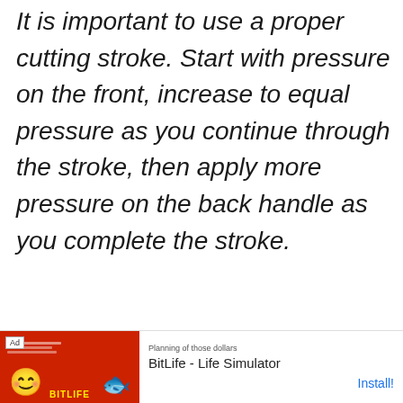It is important to use a proper cutting stroke. Start with pressure on the front, increase to equal pressure as you continue through the stroke, then apply more pressure on the back handle as you complete the stroke.
[Figure (other): Advertisement banner for BitLife - Life Simulator app with red background, smiley face emoji, sperm icon, BitLife logo, and an Install button]